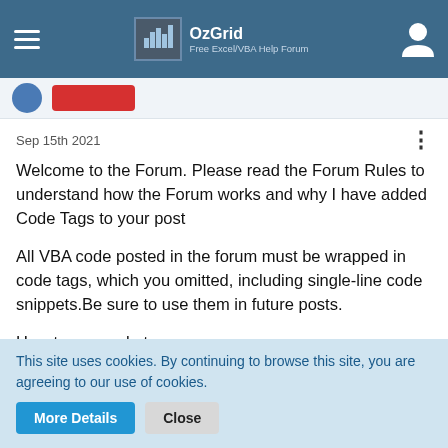OzGrid Free Excel/VBA Help Forum
Sep 15th 2021
Welcome to the Forum. Please read the Forum Rules to understand how the Forum works and why I have added Code Tags to your post
All VBA code posted in the forum must be wrapped in code tags, which you omitted, including single-line code snippets.Be sure to use them in future posts.
How to use code tags
Just highlight all of the code and press the <> in the post
This site uses cookies. By continuing to browse this site, you are agreeing to our use of cookies.